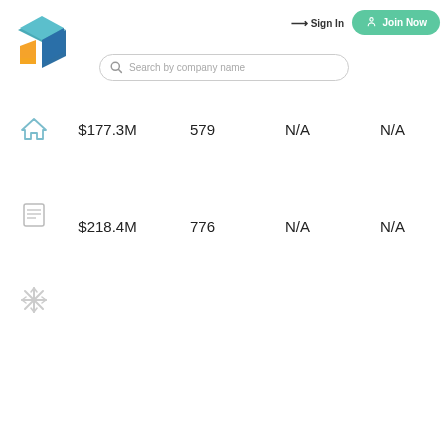[Figure (logo): Colorful 3D block logo with teal, blue, and orange segments]
Sign In
Join Now
Search by company name
| [home icon] | $177.3M | 579 | N/A | N/A |
| [document icon] | $218.4M | 776 | N/A | N/A |
| [snowflake icon] |  |  |  |  |